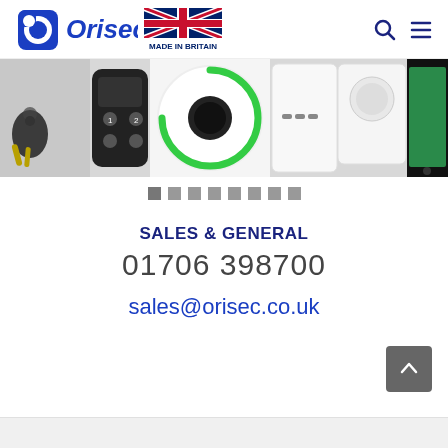[Figure (logo): Orisec logo with circular icon and 'Made in Britain' UK flag badge, plus search and menu icons on the right]
[Figure (photo): Product image strip showing security system components: key fob with keys, remote control, alarm hub with green ring, door sensor, PIR motion detector, and smartphone]
[Figure (other): Carousel navigation dots — 8 grey square dots]
SALES & GENERAL
01706 398700
sales@orisec.co.uk